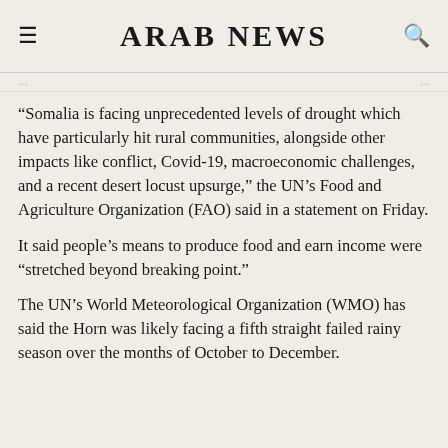ARAB NEWS
“Somalia is facing unprecedented levels of drought which have particularly hit rural communities, alongside other impacts like conflict, Covid-19, macroeconomic challenges, and a recent desert locust upsurge,” the UN’s Food and Agriculture Organization (FAO) said in a statement on Friday.
It said people’s means to produce food and earn income were “stretched beyond breaking point.”
The UN’s World Meteorological Organization (WMO) has said the Horn was likely facing a fifth straight failed rainy season over the months of October to December.